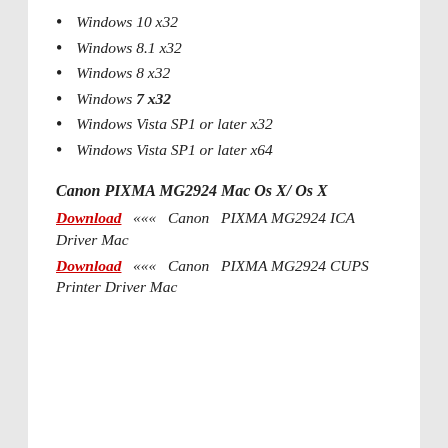Windows 10 x32
Windows 8.1 x32
Windows 8 x32
Windows 7 x32
Windows Vista SP1 or later x32
Windows Vista SP1 or later x64
Canon PIXMA MG2924 Mac Os X/ Os X
Download ««« Canon PIXMA MG2924 ICA Driver Mac
Download ««« Canon PIXMA MG2924 CUPS Printer Driver Mac